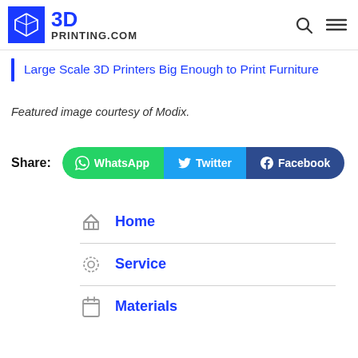3D PRINTING.COM
Large Scale 3D Printers Big Enough to Print Furniture
Featured image courtesy of Modix.
Share: WhatsApp Twitter Facebook
Home
Service
Materials